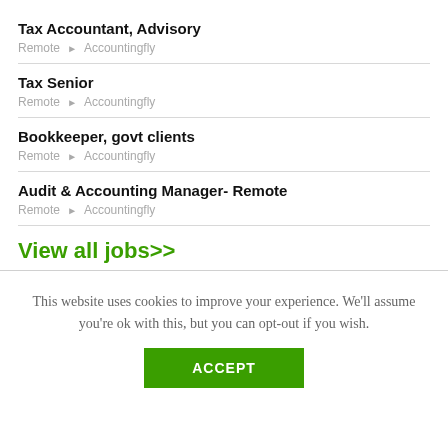Tax Accountant, Advisory
Remote • Accountingfly
Tax Senior
Remote • Accountingfly
Bookkeeper, govt clients
Remote • Accountingfly
Audit & Accounting Manager- Remote
Remote • Accountingfly
View all jobs>>
This website uses cookies to improve your experience. We'll assume you're ok with this, but you can opt-out if you wish.
ACCEPT